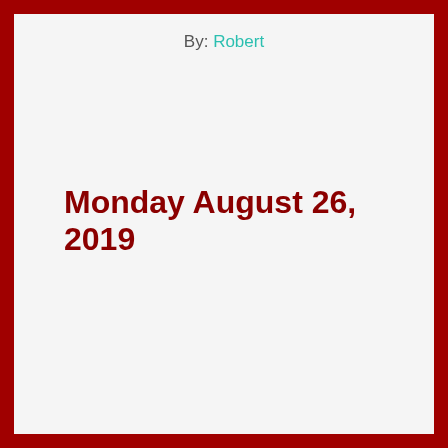By: Robert
Monday August 26, 2019